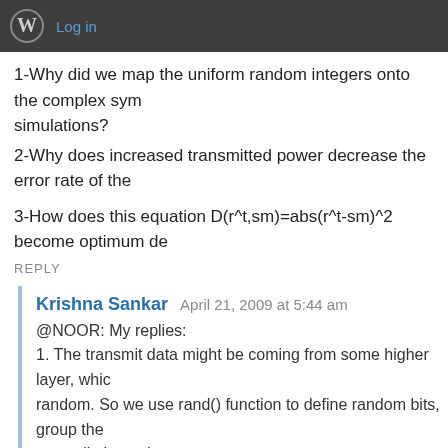Log in
1-Why did we map the uniform random integers onto the complex sym simulations?
2-Why does increased transmitted power decrease the error rate of the
3-How does this equation D(r^t,sm)=abs(r^t-sm)^2 become optimum de
REPLY
Krishna Sankar   April 21, 2009 at 5:44 am
@NOOR: My replies:
1. The transmit data might be coming from some higher layer, whic random. So we use rand() function to define random bits, group the constellation points.
2. The effect of noise becomes smaller as we increase the transmit
3. I believe you wrote the equation of Maximum likelihood, correct?
REPLY
Melinda   March 19, 2009 at 4:30 pm